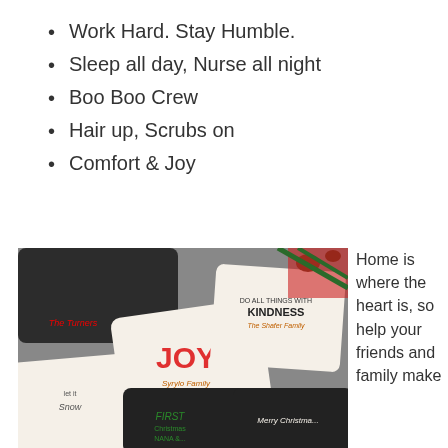Work Hard. Stay Humble.
Sleep all day, Nurse all night
Boo Boo Crew
Hair up, Scrubs on
Comfort & Joy
[Figure (photo): Collection of personalized decorative throw pillows with Christmas and family themes, including pillows reading 'The Turners', 'JOY Syrylo Family', 'Do All Things With Kindness The Shafer Family', 'Let It Snow', 'First Christmas Nana', and 'Merry Christmas' with Christmas trees]
Home is where the heart is, so help your friends and family make